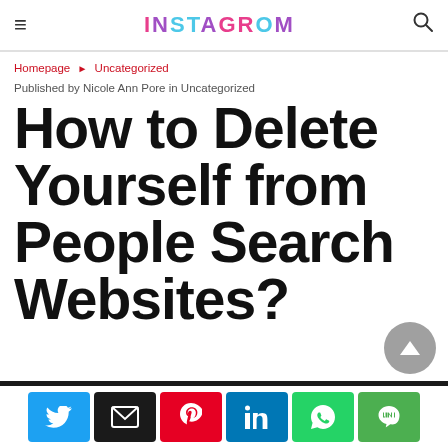INSTAFROM
Homepage ▶ Uncategorized
Published by Nicole Ann Pore in Uncategorized
How to Delete Yourself from People Search Websites?
[Figure (infographic): Social sharing buttons row: Twitter (blue), Email (black), Pinterest (red), LinkedIn (blue), WhatsApp (green), Line (green)]